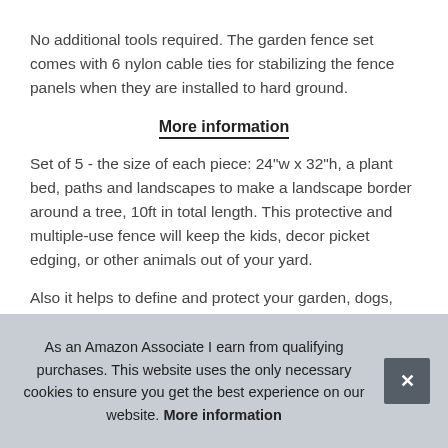No additional tools required. The garden fence set comes with 6 nylon cable ties for stabilizing the fence panels when they are installed to hard ground.
More information
Set of 5 - the size of each piece: 24"w x 32"h, a plant bed, paths and landscapes to make a landscape border around a tree, 10ft in total length. This protective and multiple-use fence will keep the kids, decor picket edging, or other animals out of your yard.
Also it helps to define and protect your garden, dogs, rabbit, lawn ... reasons ... to use ... dec...
As an Amazon Associate I earn from qualifying purchases. This website uses the only necessary cookies to ensure you get the best experience on our website. More information